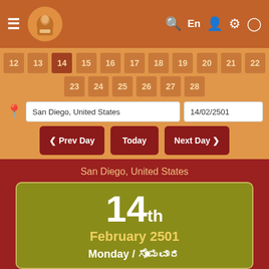[Figure (screenshot): Top navigation bar with hamburger menu, logo of a seated sage/scholar, search icon, En language selector, user icon, settings icon, and clock/history icon]
[Figure (screenshot): Calendar date row showing dates 12-22 and second row 23-28 with brownish tiles on orange background]
San Diego, United States
14/02/2501
‹ Prev Day
Today
Next Day ›
San Diego, United States
14th February 2501 Monday / ಸೋಮವಾರ